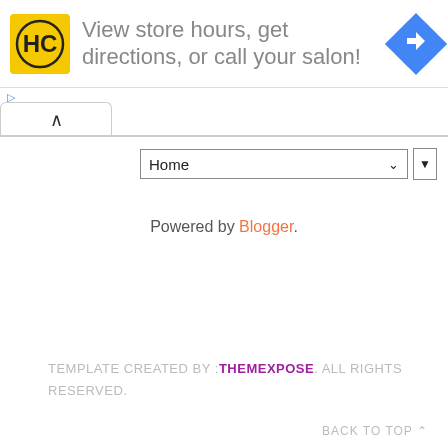[Figure (screenshot): Advertisement banner with HC logo, text 'View store hours, get directions, or call your salon!' and a blue diamond-shaped direction arrow icon]
Home (dropdown selector)
Powered by Blogger.
TEMPLATE CREATED BY : THEMEXPOSE. ALL RIGHTS RESERVED.
BACK TO TOP